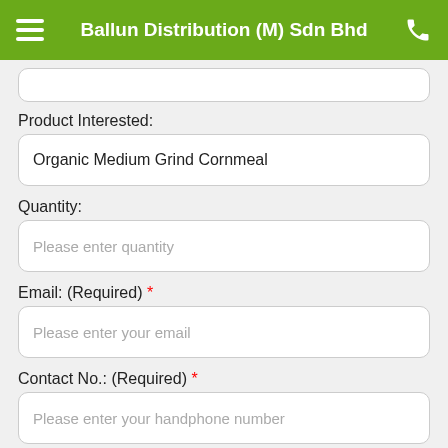Ballun Distribution (M) Sdn Bhd
Product Interested:
Organic Medium Grind Cornmeal
Quantity:
Please enter quantity
Email: (Required) *
Please enter your email
Contact No.: (Required) *
Please enter your handphone number
Ship to Name:
Please enter ship to name
Shipping Address: